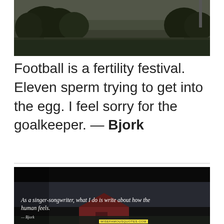[Figure (photo): Dark outdoor landscape photo with trees and overcast sky]
Football is a fertility festival. Eleven sperm trying to get into the egg. I feel sorry for the goalkeeper. — Bjork
[Figure (photo): Dark outdoor photo of a barn at dusk with quote overlay: 'As a singer-songwriter, what I do is write about how the human feels.' attributed to Bjork, with wisefamousquotes.com watermark]